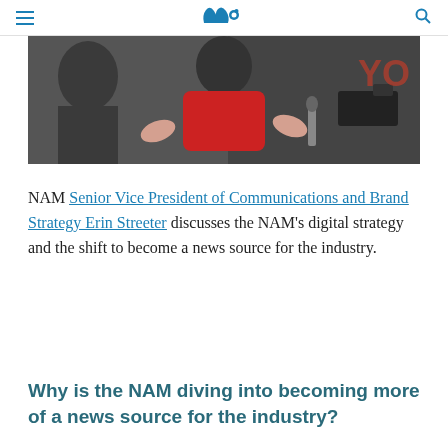NAM logo header with hamburger menu and search icon
[Figure (photo): A person in a red shirt gesturing with hands, surrounded by media cameras and microphones, with partial 'YO' text visible in background]
NAM Senior Vice President of Communications and Brand Strategy Erin Streeter discusses the NAM's digital strategy and the shift to become a news source for the industry.
Why is the NAM diving into becoming more of a news source for the industry?